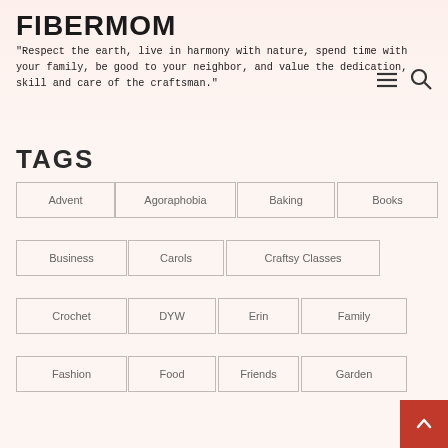FIBERMOM
"Respect the earth, live in harmony with nature, spend time with your family, be good to your neighbor, and value the dedication, skill and care of the craftsman."
TAGS
Advent
Agoraphobia
Baking
Books
Business
Carols
Craftsy Classes
Crochet
DYW
Erin
Family
Fashion
Food
Friends
Garden